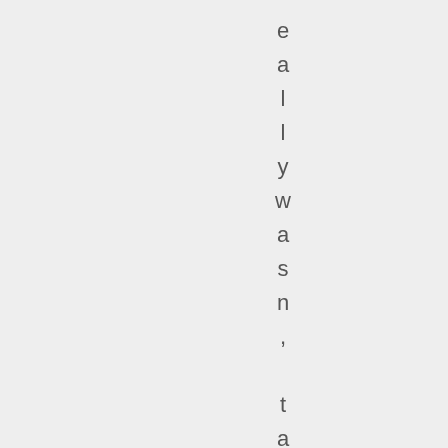e a l l y w a s n , t a n y v o